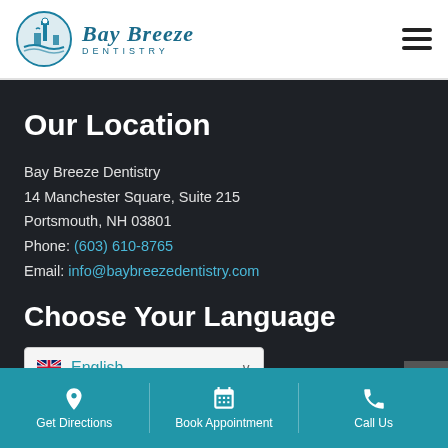[Figure (logo): Bay Breeze Dentistry logo with circular icon showing lighthouse and buildings, teal color scheme]
Our Location
Bay Breeze Dentistry
14 Manchester Square, Suite 215
Portsmouth, NH 03801
Phone: (603) 610-8765
Email: info@baybreezedentistry.com
Choose Your Language
English (dropdown)
Get Directions | Book Appointment | Call Us